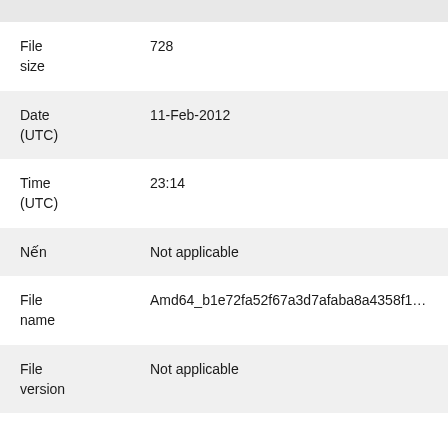| Field | Value |
| --- | --- |
| File size | 728 |
| Date (UTC) | 11-Feb-2012 |
| Time (UTC) | 23:14 |
| Nến | Not applicable |
| File name | Amd64_b1e72fa52f67a3d7afaba8a4358f1661_31bf3856… |
| File version | Not applicable |